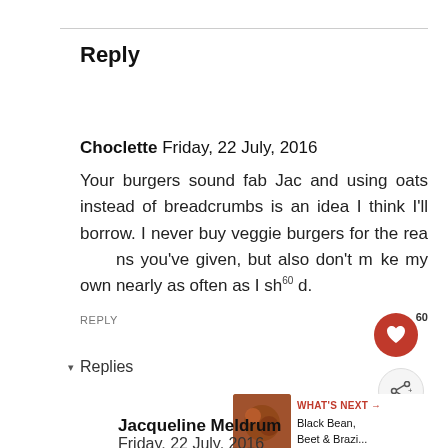Reply
Choclette Friday, 22 July, 2016
Your burgers sound fab Jac and using oats instead of breadcrumbs is an idea I think I'll borrow. I never buy veggie burgers for the reasons you've given, but also don't make my own nearly as often as I should.
REPLY
▾ Replies
WHAT'S NEXT → Black Bean, Beet & Brazi...
Jacqueline Meldrum
Friday, 22 July, 2016